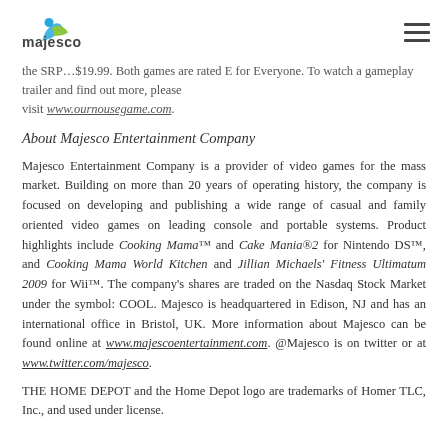[Figure (logo): Majesco logo with blue and green swoosh figure, text 'majesco' in lowercase]
the SRP…$19.99. Both games are rated E for Everyone. To watch a gameplay trailer and find out more, please visit www.ournousegame.com.
About Majesco Entertainment Company
Majesco Entertainment Company is a provider of video games for the mass market. Building on more than 20 years of operating history, the company is focused on developing and publishing a wide range of casual and family oriented video games on leading console and portable systems. Product highlights include Cooking Mama™ and Cake Mania®2 for Nintendo DS™, and Cooking Mama World Kitchen and Jillian Michaels' Fitness Ultimatum 2009 for Wii™. The company's shares are traded on the Nasdaq Stock Market under the symbol: COOL. Majesco is headquartered in Edison, NJ and has an international office in Bristol, UK. More information about Majesco can be found online at www.majescoentertainment.com. @Majesco is on twitter or at www.twitter.com/majesco.
THE HOME DEPOT and the Home Depot logo are trademarks of Homer TLC, Inc., and used under license.